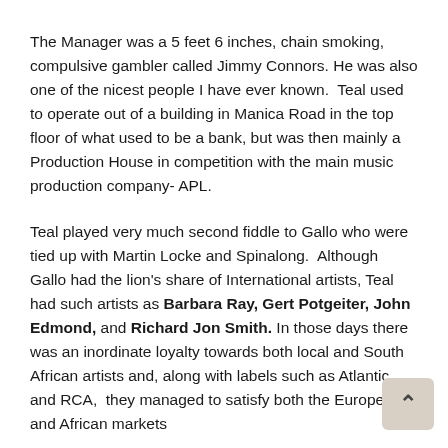The Manager was a 5 feet 6 inches, chain smoking, compulsive gambler called Jimmy Connors. He was also one of the nicest people I have ever known.  Teal used to operate out of a building in Manica Road in the top floor of what used to be a bank, but was then mainly a Production House in competition with the main music production company- APL.
Teal played very much second fiddle to Gallo who were tied up with Martin Locke and Spinalong.  Although Gallo had the lion's share of International artists, Teal had such artists as Barbara Ray, Gert Potgeiter, John Edmond, and Richard Jon Smith. In those days there was an inordinate loyalty towards both local and South African artists and, along with labels such as Atlantic and RCA,  they managed to satisfy both the European and African markets